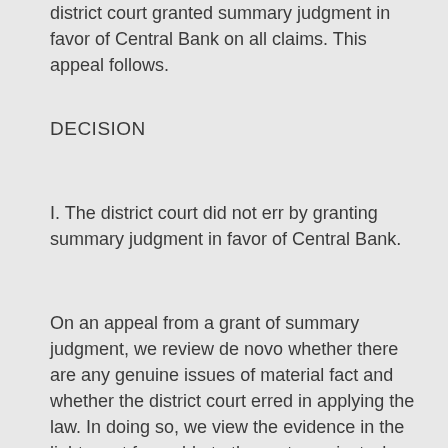district court granted summary judgment in favor of Central Bank on all claims. This appeal follows.
DECISION
I. The district court did not err by granting summary judgment in favor of Central Bank.
On an appeal from a grant of summary judgment, we review de novo whether there are any genuine issues of material fact and whether the district court erred in applying the law. In doing so, we view the evidence in the light most favorable to the party against whom summary judgment was granted.